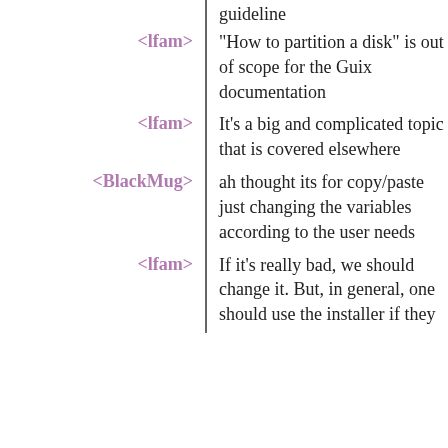guideline
<lfam> "How to partition a disk" is out of scope for the Guix documentation
<lfam> It's a big and complicated topic that is covered elsewhere
<BlackMug> ah thought its for copy/paste just changing the variables according to the user needs
<lfam> If it's really bad, we should change it. But, in general, one should use the installer if they